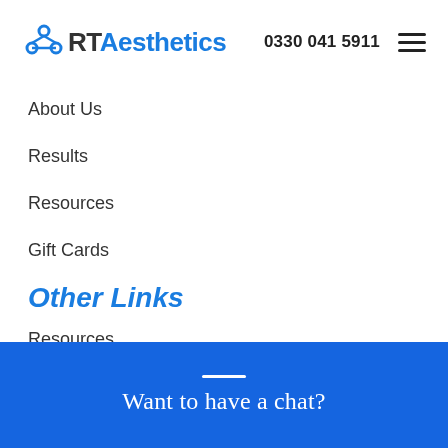RT Aesthetics — 0330 041 5911
About Us
Results
Resources
Gift Cards
Other Links
Resources
Gift Cards
Want to have a chat?